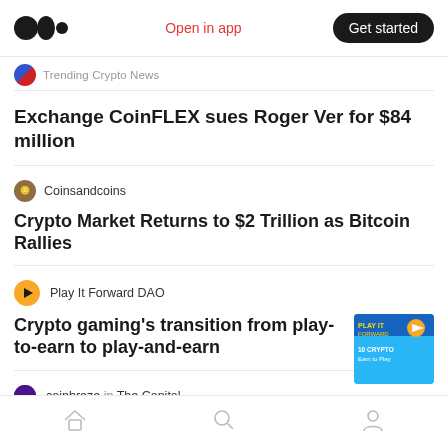Medium logo | Open in app | Get started
Trending Crypto News
Exchange CoinFLEX sues Roger Ver for $84 million
Coinsandcoins
Crypto Market Returns to $2 Trillion as Bitcoin Rallies
Play It Forward DAO
Crypto gaming's transition from play-to-earn to play-and-earn
coinbreze in The Capital
Ask Me Anything—Is It Needed For A
Home | Search | Profile